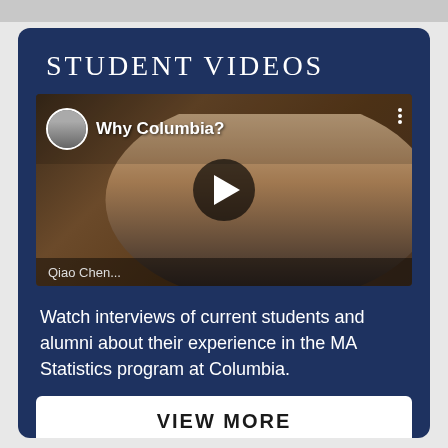STUDENT VIDEOS
[Figure (screenshot): YouTube video thumbnail showing a student being interviewed with title 'Why Columbia?' and a play button overlay. A small avatar of another person is shown in the top left corner. The bottom shows partial text 'Qiao Chen' or similar name.]
Watch interviews of current students and alumni about their experience in the MA Statistics program at Columbia.
VIEW MORE